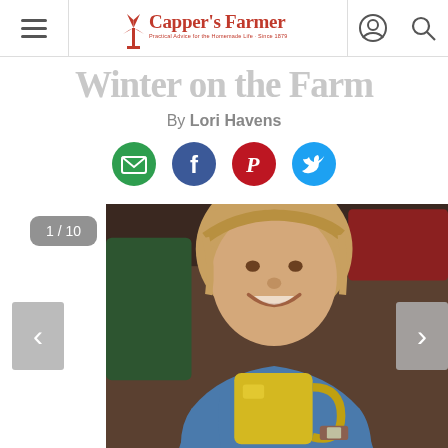[Figure (logo): Capper's Farmer logo with windmill icon and red text]
Winter on the Farm
By Lori Havens
[Figure (infographic): Social share icons: email (green), Facebook (blue), Pinterest (red/dark), Twitter (blue)]
[Figure (photo): Slideshow image 1 of 10: A woman with blonde bangs smiling and holding a yellow mug, wearing a blue top]